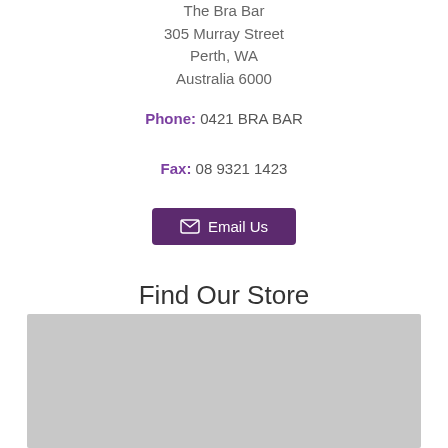The Bra Bar
305 Murray Street
Perth, WA
Australia 6000
Phone: 0421 BRA BAR
Fax: 08 9321 1423
Email Us
Find Our Store
[Figure (map): Embedded map placeholder showing store location (grey rectangle)]